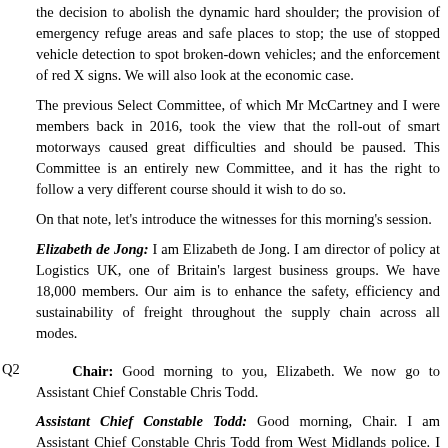the decision to abolish the dynamic hard shoulder; the provision of emergency refuge areas and safe places to stop; the use of stopped vehicle detection to spot broken-down vehicles; and the enforcement of red X signs. We will also look at the economic case.
The previous Select Committee, of which Mr McCartney and I were members back in 2016, took the view that the roll-out of smart motorways caused great difficulties and should be paused. This Committee is an entirely new Committee, and it has the right to follow a very different course should it wish to do so.
On that note, let's introduce the witnesses for this morning's session.
Elizabeth de Jong: I am Elizabeth de Jong. I am director of policy at Logistics UK, one of Britain's largest business groups. We have 18,000 members. Our aim is to enhance the safety, efficiency and sustainability of freight throughout the supply chain across all modes.
Q2 Chair: Good morning to you, Elizabeth. We now go to Assistant Chief Constable Chris Todd.
Assistant Chief Constable Todd: Good morning, Chair. I am Assistant Chief Constable Chris Todd from West Midlands police. I have, among my responsibilities, that for the central motorway patrol group covering the West Midlands and Staffordshire police force areas and the motorway network